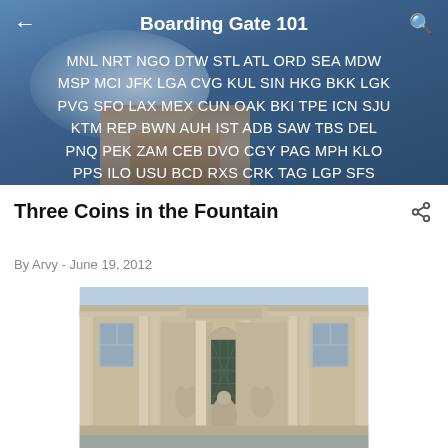Boarding Gate 101
MNL NRT NGO DTW STL ATL ORD SEA MDW MSP MCI JFK LGA CVG KUL SIN HKG BKK LGK PVG SFO LAX MEX CUN OAK BKI TPE ICN SJU KTM REP BWN AUH IST ADB SAW TBS DEL PNQ PEK ZAM CEB DVO CGY PAG MPH KLO PPS ILO USU BCD RXS CRK TAG LGP SFS
Three Coins in the Fountain
By Arvy - June 19, 2012
[Figure (photo): Trevi Fountain facade in Rome showing ornate baroque architecture with columns, statues, and arched niches]